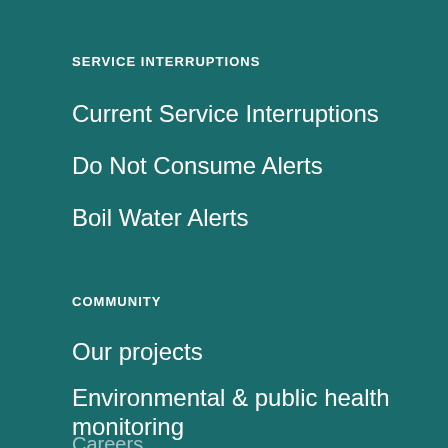SERVICE INTERRUPTIONS
Current Service Interruptions
Do Not Consume Alerts
Boil Water Alerts
COMMUNITY
Our projects
Environmental & public health monitoring
Careers
Report a fault
Restrictions